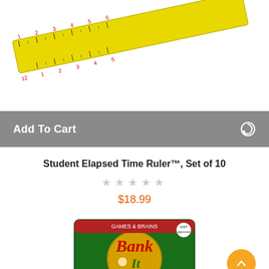[Figure (photo): Yellow ruler with measurement markings, partially visible at top of page]
Add To Cart
Student Elapsed Time Ruler™, Set of 10
★★★★★ (no rating, empty stars)
$18.99
[Figure (photo): Bank It board game box with green background and gold coin imagery, partially visible at bottom]